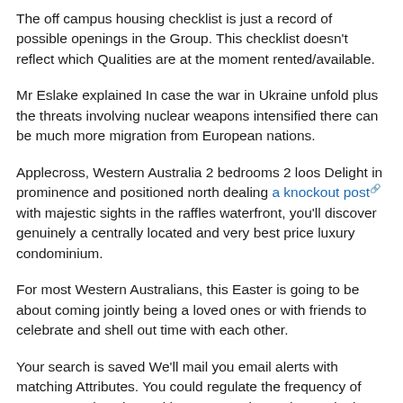The off campus housing checklist is just a record of possible openings in the Group. This checklist doesn't reflect which Qualities are at the moment rented/available.
Mr Eslake explained In case the war in Ukraine unfold plus the threats involving nuclear weapons intensified there can be much more migration from European nations.
Applecross, Western Australia 2 bedrooms 2 loos Delight in prominence and positioned north dealing a knockout post with majestic sights in the raffles waterfront, you'll discover genuinely a centrally located and very best price luxury condominium.
For most Western Australians, this Easter is going to be about coming jointly being a loved ones or with friends to celebrate and shell out time with each other.
Your search is saved We'll mail you email alerts with matching Attributes. You could regulate the frequency of your respective alerts with your Saved searches web site. Near
Disclaimer: Faculty attendance zone boundaries are furnished by a third party and therefore are subject matter